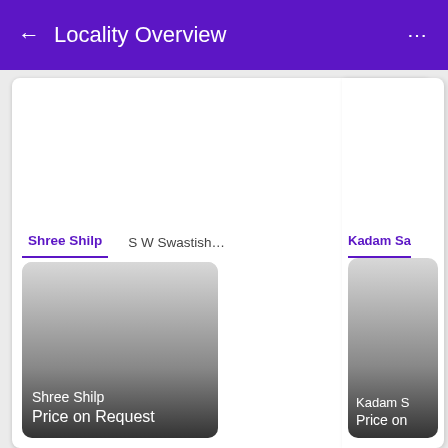Locality Overview
Shree Shilp	S W Swastish...	Kadam Sa
[Figure (screenshot): Project card for Shree Shilp showing a gradient image placeholder with text 'Shree Shilp' and 'Price on Request']
[Figure (screenshot): Partially visible project card for Kadam Sa showing gradient image with 'Kadam S' and 'Price on' text]
Top Projects